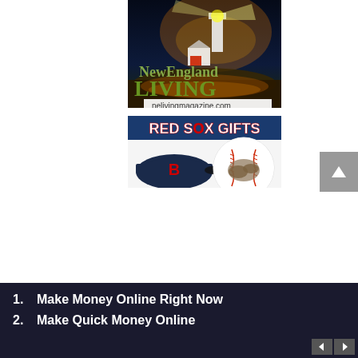[Figure (illustration): New England Living magazine advertisement showing a lighthouse at night with glowing lights, with text 'NewEngland LIVING' in olive/green serif font and 'nelivingmagazine.com' at the bottom on a white banner.]
[Figure (illustration): Red Sox Gifts advertisement banner with blue background, showing 'RED SOX GIFTS' in red and white bold text, with a Red Sox baseball cap and a baseball with Red Sox cleats/logo graphic below.]
1. Make Money Online Right Now
2. Make Quick Money Online